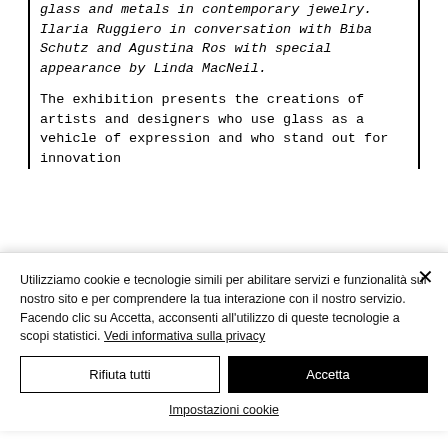glass and metals in contemporary jewelry. Ilaria Ruggiero in conversation with Biba Schutz and Agustina Ros with special appearance by Linda MacNeil.
The exhibition presents the creations of artists and designers who use glass as a vehicle of expression and who stand out for innovation
Utilizziamo cookie e tecnologie simili per abilitare servizi e funzionalità sul nostro sito e per comprendere la tua interazione con il nostro servizio. Facendo clic su Accetta, acconsenti all'utilizzo di queste tecnologie a scopi statistici. Vedi informativa sulla privacy
Rifiuta tutti
Accetta
Impostazioni cookie